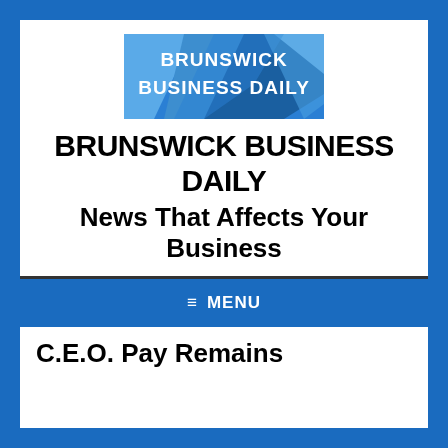[Figure (logo): Brunswick Business Daily logo banner with blue geometric background and white bold text]
BRUNSWICK BUSINESS DAILY
News That Affects Your Business
≡ MENU
C.E.O. Pay Remains